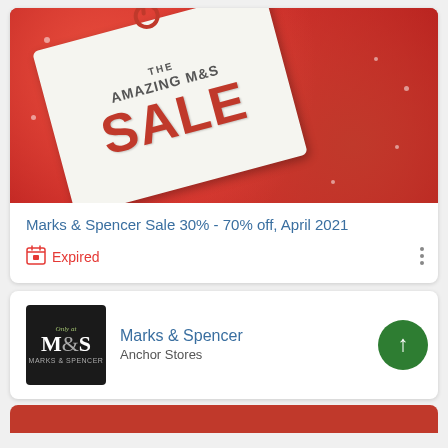[Figure (photo): M&S Amazing Sale promotional image — a white sale tag on a red glitter background with text 'THE AMAZING M&S SALE' in red letters]
Marks & Spencer Sale 30% - 70% off, April 2021
Expired
[Figure (logo): Marks & Spencer logo — 'Only at M&S MARKS & SPENCER' on black background]
Marks & Spencer
Anchor Stores